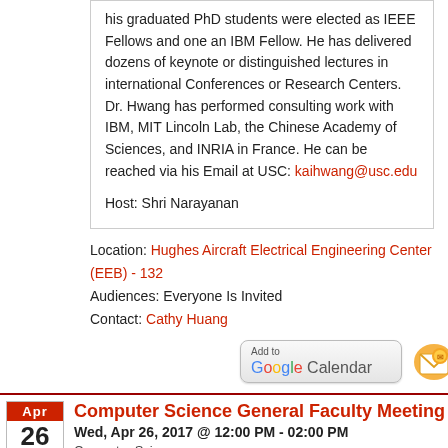his graduated PhD students were elected as IEEE Fellows and one an IBM Fellow. He has delivered dozens of keynote or distinguished lectures in international Conferences or Research Centers. Dr. Hwang has performed consulting work with IBM, MIT Lincoln Lab, the Chinese Academy of Sciences, and INRIA in France. He can be reached via his Email at USC: kaihwang@usc.edu

Host: Shri Narayanan
Location: Hughes Aircraft Electrical Engineering Center (EEB) - 132
Audiences: Everyone Is Invited
Contact: Cathy Huang
[Figure (other): Add to Google Calendar button, email icon, and iCal icon]
Computer Science General Faculty Meeting
Wed, Apr 26, 2017 @ 12:00 PM - 02:00 PM
Computer Science
Receptions & Special Events
Bi-Weekly regular faculty meeting for invited full-time Computer Science faculty only. Event details emailed